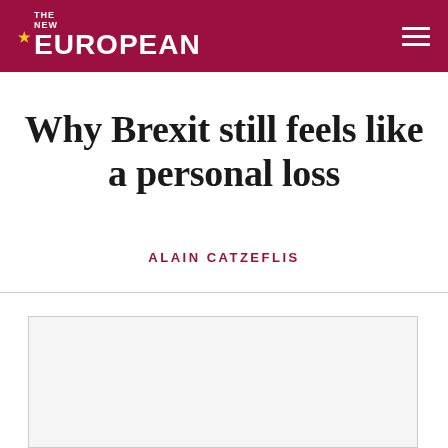THE NEW EUROPEAN
Why Brexit still feels like a personal loss
ALAIN CATZEFLIS
[Figure (photo): Article image placeholder, light gray rectangle with border]